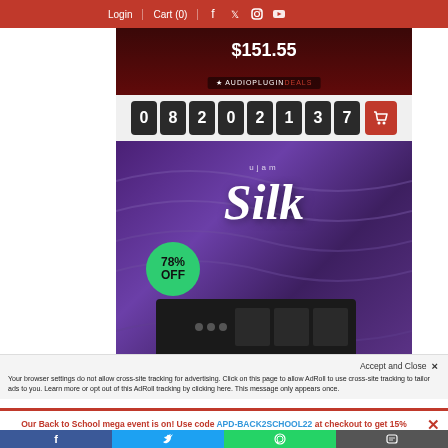Login | Cart (0) | Social icons (Facebook, Twitter, Instagram, YouTube)
[Figure (screenshot): Dark red promotional banner showing a price in white text with Audio Plugin Deals branding, and a countdown timer showing 08 20 21 37 with a red shopping cart button]
[Figure (screenshot): UJAM Silk plugin advertisement on purple silk fabric background with 78% OFF badge in green circle and plugin interface visible at bottom]
Accept and Close ×
Your browser settings do not allow cross-site tracking for advertising. Click on this page to allow AdRoll to use cross-site tracking to tailor ads to you. Learn more or opt out of this AdRoll tracking by clicking here. This message only appears once.
Our Back to School mega event is on! Use code APD-BACK2SCHOOL22 at checkout to get 15% off...
[Figure (screenshot): Social sharing bar with Facebook, Twitter, WhatsApp, and SMS icons on colored backgrounds]